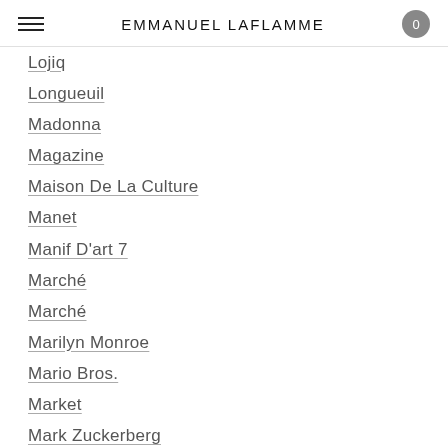EMMANUEL LAFLAMME
Lojiq
Longueuil
Madonna
Magazine
Maison De La Culture
Manet
Manif D'art 7
Marché
Marché
Marilyn Monroe
Mario Bros.
Market
Mark Zuckerberg
Mashup
Massivart